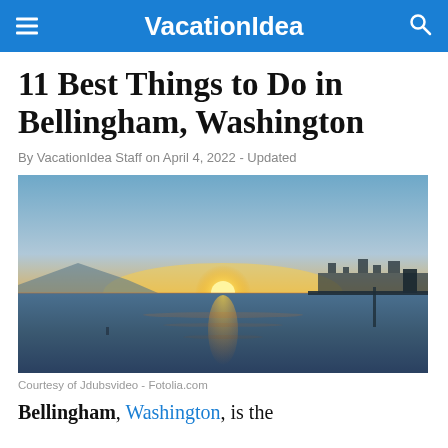VacationIdea
11 Best Things to Do in Bellingham, Washington
By VacationIdea Staff on April 4, 2022 - Updated
[Figure (photo): Aerial sunset panorama over Bellingham Bay, Washington, showing calm water reflecting orange and golden sky with port infrastructure on the right and distant mountains on the left.]
Courtesy of Jdubsvideo - Fotolia.com
Bellingham, Washington, is the